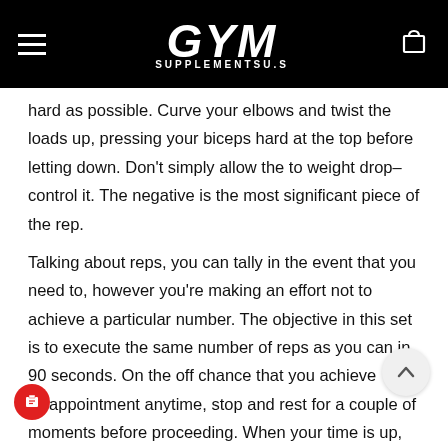Gym Supplementsu.s
hard as possible. Curve your elbows and twist the loads up, pressing your biceps hard at the top before letting down. Don't simply allow the to weight drop–control it. The negative is the most significant piece of the rep.
Talking about reps, you can tally in the event that you need to, however you're making an effort not to achieve a particular number. The objective in this set is to execute the same number of reps as you can in 90 seconds. On the off chance that you achieve disappointment anytime, stop and rest for a couple of moments before proceeding. When your time is up, drop the loads and shake the torment off for 20-30 seconds.
Situated Hammer Curl